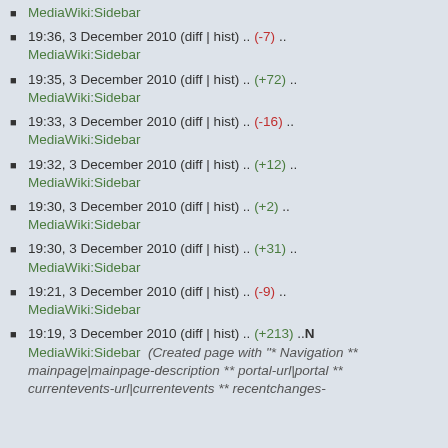MediaWiki:Sidebar
19:36, 3 December 2010 (diff | hist) .. (-7) .. MediaWiki:Sidebar
19:35, 3 December 2010 (diff | hist) .. (+72) .. MediaWiki:Sidebar
19:33, 3 December 2010 (diff | hist) .. (-16) .. MediaWiki:Sidebar
19:32, 3 December 2010 (diff | hist) .. (+12) .. MediaWiki:Sidebar
19:30, 3 December 2010 (diff | hist) .. (+2) .. MediaWiki:Sidebar
19:30, 3 December 2010 (diff | hist) .. (+31) .. MediaWiki:Sidebar
19:21, 3 December 2010 (diff | hist) .. (-9) .. MediaWiki:Sidebar
19:19, 3 December 2010 (diff | hist) .. (+213) .. N MediaWiki:Sidebar (Created page with "* Navigation ** mainpage|mainpage-description ** portal-url|portal ** currentevents-url|currentevents ** recentchanges-